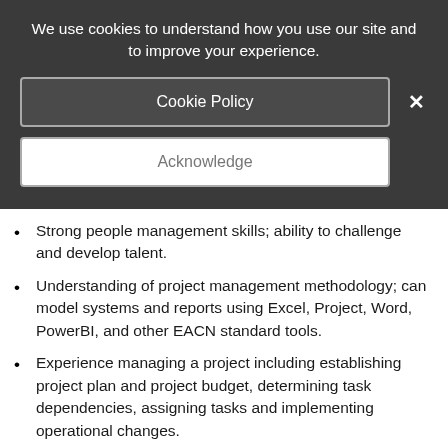We use cookies to understand how you use our site and to improve your experience.
Cookie Policy
Acknowledge
Strong people management skills; ability to challenge and develop talent.
Understanding of project management methodology; can model systems and reports using Excel, Project, Word, PowerBI, and other EACN standard tools.
Experience managing a project including establishing project plan and project budget, determining task dependencies, assigning tasks and implementing operational changes.
Performance Competencies: